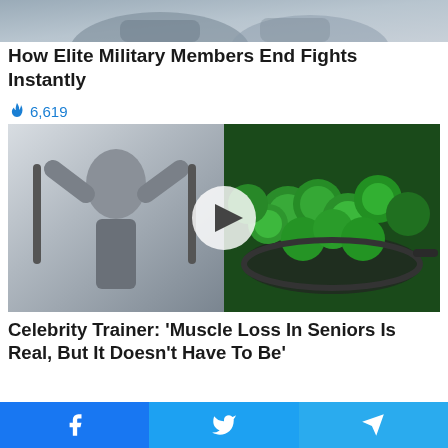[Figure (photo): Partial image of person at top of page, cropped]
How Elite Military Members End Fights Instantly
🔥 6,619
[Figure (photo): Split video thumbnail: left side shows shirtless muscular man flexing in gym, right side shows broccoli in a pan. Play button overlay in center.]
Celebrity Trainer: 'Muscle Loss In Seniors Is Real, But It Doesn't Have To Be'
Facebook | Twitter | Telegram share buttons